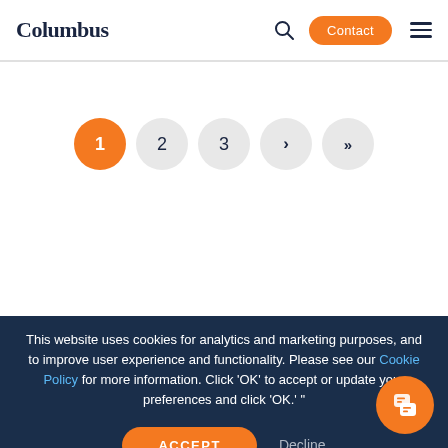Columbus | Contact
[Figure (other): Pagination controls showing page 1 (active, orange), pages 2 and 3, next arrow, and last-page double arrow]
This website uses cookies for analytics and marketing purposes, and to improve user experience and functionality. Please see our Cookie Policy for more information. Click 'OK' to accept or update your preferences and click 'OK.' "
ACCEPT | Decline